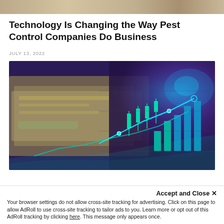[Figure (photo): Partial top of a previous article image, showing a blurred background scene.]
Technology Is Changing the Way Pest Control Companies Do Business
JULY 13, 2022
[Figure (photo): Photo of US dollar bills overlaid with a glowing teal digital stock market chart with candlesticks, bar chart, and line graph on a dark purple background.]
Accept and Close ✕
Your browser settings do not allow cross-site tracking for advertising. Click on this page to allow AdRoll to use cross-site tracking to tailor ads to you. Learn more or opt out of this AdRoll tracking by clicking here. This message only appears once.